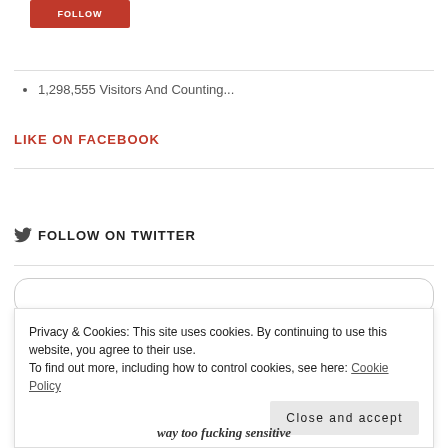[Figure (other): Red FOLLOW button]
1,298,555 Visitors And Counting...
LIKE ON FACEBOOK
FOLLOW ON TWITTER
Privacy & Cookies: This site uses cookies. By continuing to use this website, you agree to their use.
To find out more, including how to control cookies, see here: Cookie Policy
Close and accept
way too fucking sensitive